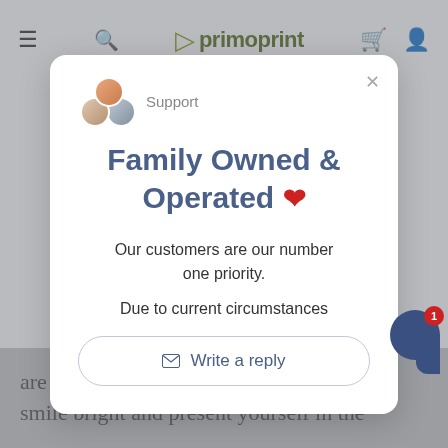[Figure (screenshot): Primoprint website navigation bar with hamburger menu, search icon, Primoprint logo, cart icon, and user account icon]
[Figure (screenshot): Support chat modal popup showing avatars, Family Owned & Operated heading with red heart, customer priority text, due to current circumstances text, and Write a reply button]
Family Owned & Operated ❤
Our customers are our number one priority.
Due to current circumstances
Write a reply
are quick to judge you by your photo. S smile bright and present yourself in the